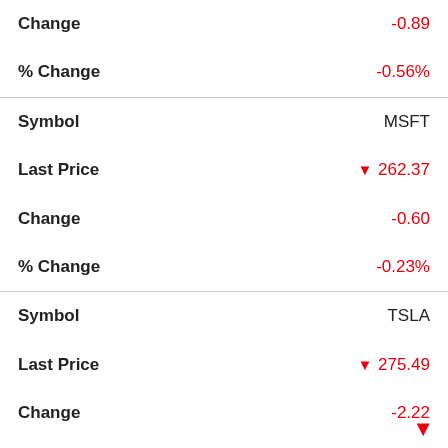| Field | Value |
| --- | --- |
| Change | -0.89 |
| % Change | -0.56% |
| Symbol | MSFT |
| Last Price | ▼ 262.37 |
| Change | -0.60 |
| % Change | -0.23% |
| Symbol | TSLA |
| Last Price | ▼ 275.49 |
| Change | -2.22 |
| % Change | -0.80% |